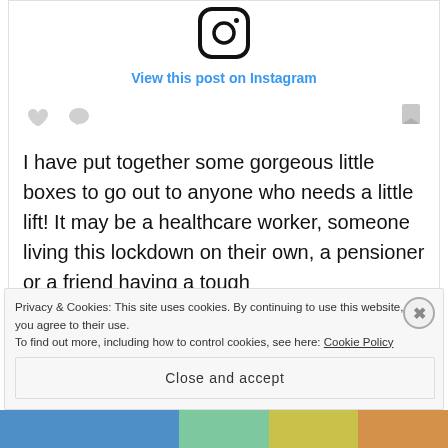[Figure (logo): Instagram logo icon (rounded square with circle inside)]
View this post on Instagram
[Figure (illustration): Social media interaction icons: heart, comment bubble (left), and share/bookmark (right)]
I have put together some gorgeous little boxes to go out to anyone who needs a little lift! It may be a healthcare worker, someone living this lockdown on their own, a pensioner or a friend having a tough
Privacy & Cookies: This site uses cookies. By continuing to use this website, you agree to their use.
To find out more, including how to control cookies, see here: Cookie Policy
Close and accept